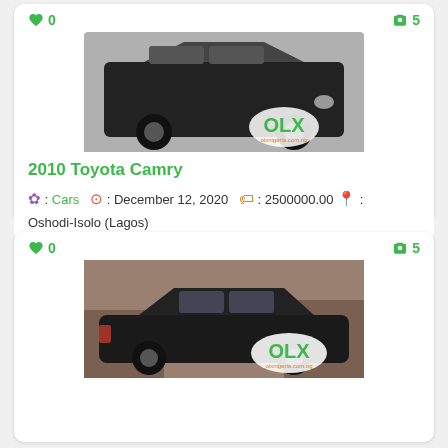[Figure (screenshot): OLX Nigeria car listing card for 2010 Toyota Camry showing a black Toyota Camry sedan with OLX watermark, heart count 0, camera/photo count 5]
2010 Toyota Camry
Category: Cars | Date: December 12, 2020 | Price: 2500000.00 | Location: Oshodi-Isolo (Lagos)
[Figure (screenshot): OLX Nigeria car listing card for a black sedan (Mercedes-Benz) showing side view with OLX watermark, heart count 0, camera/photo count 5]